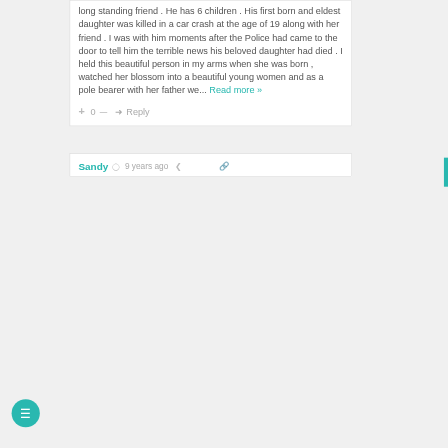long standing friend . He has 6 children . His first born and eldest daughter was killed in a car crash at the age of 19 along with her friend . I was with him moments after the Police had came to the door to tell him the terrible news his beloved daughter had died . I held this beautiful person in my arms when she was born , watched her blossom into a beautiful young women and as a pole bearer with her father we... Read more »
+ 0 — ➜ Reply
Sandy  9 years ago